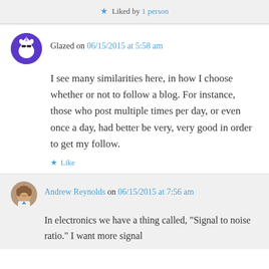Liked by 1 person
Glazed on 06/15/2015 at 5:58 am
I see many similarities here, in how I choose whether or not to follow a blog. For instance, those who post multiple times per day, or even once a day, had better be very, very good in order to get my follow.
Like
Andrew Reynolds on 06/15/2015 at 7:56 am
In electronics we have a thing called, “Signal to noise ratio.” I want more signal